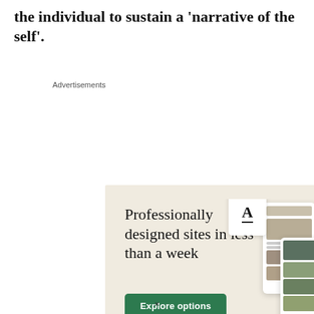the individual to sustain a 'narrative of the self'.
Advertisements
[Figure (illustration): WordPress advertisement: 'Professionally designed sites in less than a week' with Explore options button, WordPress logo, and website screenshots on beige background.]
[Figure (illustration): Direct Relief advertisement: 'Help send medical aid to Ukraine >>' with Direct Relief logo on orange background.]
×